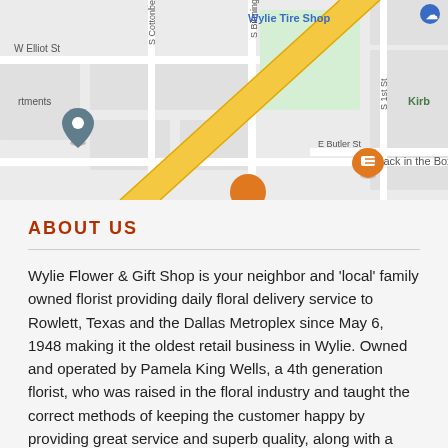[Figure (map): Google Maps screenshot showing the area around Wylie, TX with streets including W Elliot St, S Cottonbelt Ave, S Birmingham St, S 1st St, E Butler St, landmarks including Wylie Tire Shop, Olde City Park, Jack in the Box, and a location pin marker. A diagonal yellow road (highway) runs across the map.]
ABOUT US
Wylie Flower & Gift Shop is your neighbor and 'local' family owned florist providing daily floral delivery service to Rowlett, Texas and the Dallas Metroplex since May 6, 1948 making it the oldest retail business in Wylie. Owned and operated by Pamela King Wells, a 4th generation florist, who was raised in the floral industry and taught the correct methods of keeping the customer happy by providing great service and superb quality, along with a friendly, professional attitude of helpfulness.
We carry a large inventory of fresh flowers, tropicals, plants, dish gardens, & silks so that we can better accommodate our customers needs. Whether you just need to send a gift on a